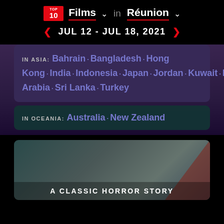TOP 10 Films in Réunion
JUL 12 - JUL 18, 2021
IN ASIA: Bahrain · Bangladesh · Hong Kong · India · Indonesia · Japan · Jordan · Kuwait · Malaysia · Maldives · Oman · Pakistan · Philippines · Qatar · Saudi Arabia · Sri Lanka · Turkey
IN OCEANIA: Australia · New Zealand
A CLASSIC HORROR STORY